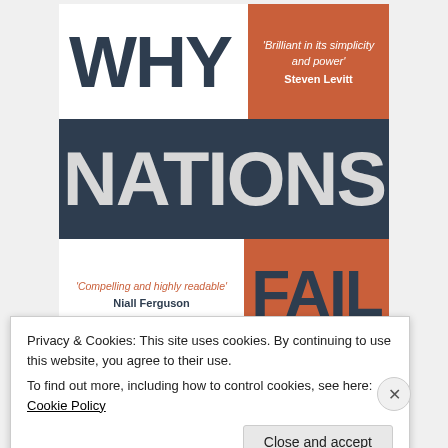[Figure (illustration): Book cover of 'Why Nations Fail: The Origins...' with blurbs from Steven Levitt ('Brilliant in its simplicity and power') and Niall Ferguson ('Compelling and highly readable'). Cover uses dark navy, burnt orange/terracotta, and white sections with bold typography.]
Privacy & Cookies: This site uses cookies. By continuing to use this website, you agree to their use.
To find out more, including how to control cookies, see here: Cookie Policy
Close and accept